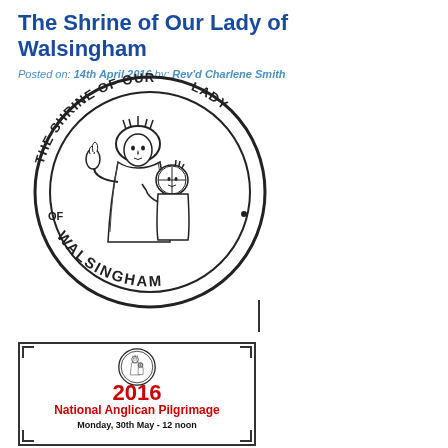The Shrine of Our Lady of Walsingham
Posted on: 14th April 2016 by: Rev'd Charlene Smith
[Figure (logo): Circular logo of The Shrine of Our Lady of Walsingham featuring an illustration of the Madonna and Child in the center, with text around the border reading 'THE SHRINE OF OUR LADY OF WALSINGHAM']
[Figure (illustration): Flyer for the 2016 National Anglican Pilgrimage at the Shrine of Our Lady of Walsingham. Shows the shrine logo at top, '2016' in large red text, 'National Anglican Pilgrimage' in red bold text, and 'Monday, 30th May - 12 noon' in bold black text below.]